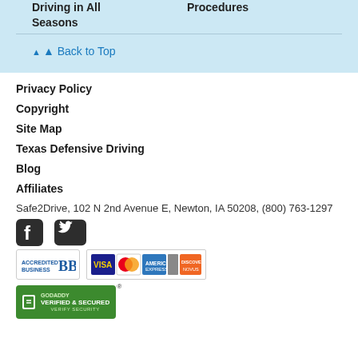Driving in All Seasons
Procedures
Back to Top
Privacy Policy
Copyright
Site Map
Texas Defensive Driving
Blog
Affiliates
Safe2Drive, 102 N 2nd Avenue E, Newton, IA 50208, (800) 763-1297
[Figure (logo): Facebook and Twitter social media icons]
[Figure (logo): BBB Accredited Business badge and credit card icons (Visa, MasterCard, American Express, Discover/Novus)]
[Figure (logo): GoDaddy Verified & Secured badge with registered trademark symbol]